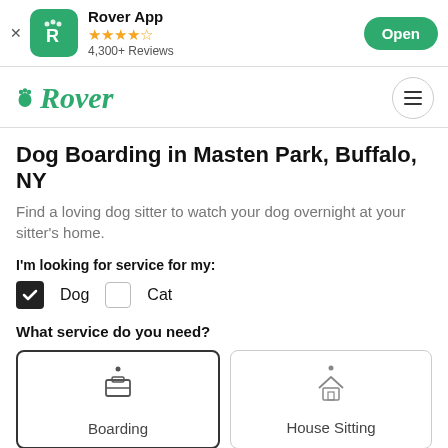[Figure (screenshot): Rover app banner with icon, star rating, review count, and Open button]
[Figure (logo): Rover logo in green italic with paw print icon, and hamburger menu]
Dog Boarding in Masten Park, Buffalo, NY
Find a loving dog sitter to watch your dog overnight at your sitter's home.
I'm looking for service for my:
Dog (checked)  Cat (unchecked)
What service do you need?
Boarding  House Sitting